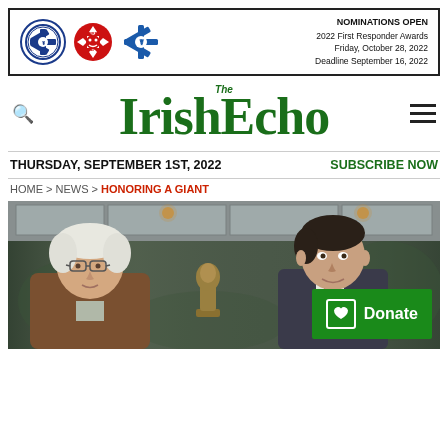[Figure (infographic): Banner advertisement for 2022 First Responder Awards showing EMS star of life logo, fire department maltese cross logo, and blue star of life logo. Text reads: NOMINATIONS OPEN, 2022 First Responder Awards, Friday, October 28, 2022, Deadline September 16, 2022]
The IrishEcho
THURSDAY, SEPTEMBER 1ST, 2022
SUBSCRIBE NOW
HOME > NEWS > HONORING A GIANT
[Figure (photo): Two men posing together holding a bronze trophy/bust statue. Left: older man with white hair and glasses wearing a brown jacket. Right: younger darker-haired man in a suit. They are in a room with a patterned mural wallpaper and drop ceiling. A green Donate button overlay appears in the lower right.]